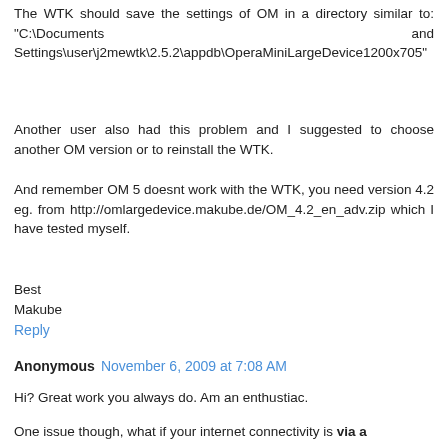The WTK should save the settings of OM in a directory similar to: "C:\Documents and Settings\user\j2mewtk\2.5.2\appdb\OperaMiniLargeDevice1200x705"
Another user also had this problem and I suggested to choose another OM version or to reinstall the WTK.
And remember OM 5 doesnt work with the WTK, you need version 4.2 eg. from http://omlargedevice.makube.de/OM_4.2_en_adv.zip which I have tested myself.
Best
Makube
Reply
Anonymous  November 6, 2009 at 7:08 AM
Hi? Great work you always do. Am an enthustiac.
One issue though, what if your internet connectivity is via a